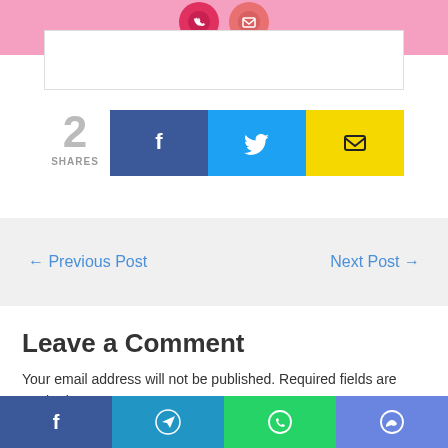[Figure (screenshot): Top pink bar with partial social icon circles (red phone and salmon mail icons)]
2
SHARES
[Figure (infographic): Share buttons row: Facebook (blue), Twitter (cyan), Email (yellow)]
← Previous Post
Next Post →
Leave a Comment
Your email address will not be published. Required fields are marked *
Type here..
[Figure (infographic): Bottom social sharing bar with Facebook, Telegram, WhatsApp, and Messenger icons]